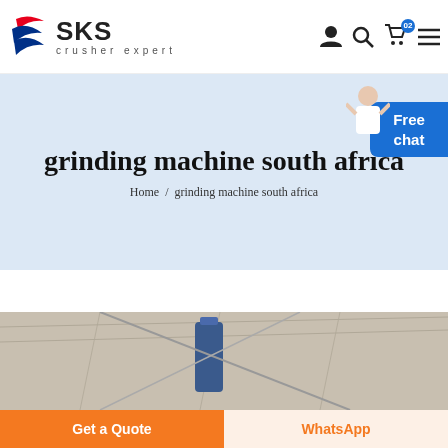SKS crusher expert
grinding machine south africa
Home / grinding machine south africa
[Figure (photo): Partial view of a grinding machine or industrial equipment, shot from low angle against a light background]
Get a Quote
WhatsApp